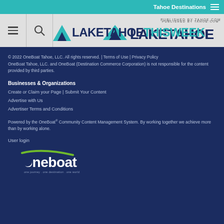Tahoe Destinations
[Figure (logo): Lake Tahoe This Week logo with mountain icon, published by Tahoe.com]
© 2022 OneBoat Tahoe, LLC. All rights reserved. | Terms of Use | Privacy Policy OneBoat Tahoe, LLC. and OneBoat (Destination Commerce Corporation) is not responsible for the content provided by third parties.
Businesses & Organizations
Create or Claim your Page | Submit Your Content
Advertise with Us
Advertiser Terms and Conditions
Powered by the OneBoat® Community Content Management System. By working together we achieve more than by working alone.
User login
[Figure (logo): OneBoat logo with tagline: one journey. one destination. one world.]